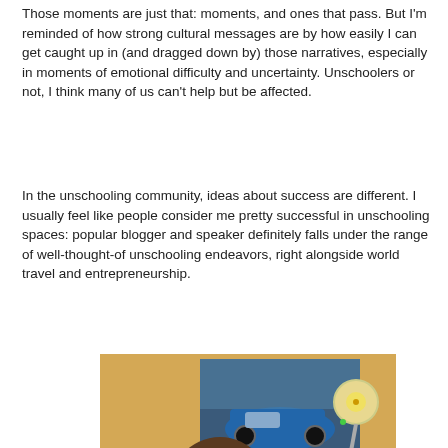Those moments are just that: moments, and ones that pass. But I'm reminded of how strong cultural messages are by how easily I can get caught up in (and dragged down by) those narratives, especially in moments of emotional difficulty and uncertainty. Unschoolers or not, I think many of us can't help but be affected.
In the unschooling community, ideas about success are different. I usually feel like people consider me pretty successful in unschooling spaces: popular blogger and speaker definitely falls under the range of well-thought-of unschooling endeavors, right alongside world travel and entrepreneurship.
[Figure (photo): A person viewed from behind, looking down at a laptop screen. In the background is a painting or image of a vintage blue car. A round lamp is visible to the right.]